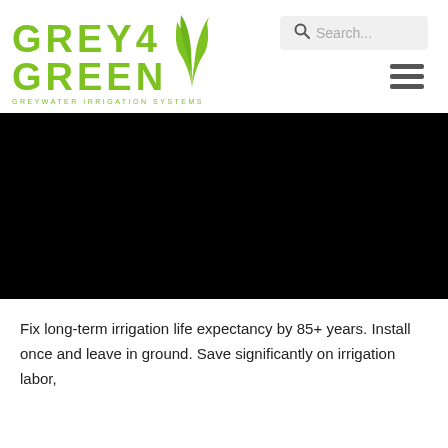[Figure (logo): Grey4Green Greywater Irrigation Systems logo with green stylized grass/plant icon and green bold lettering]
[Figure (screenshot): Search bar with magnifying glass icon and placeholder text 'Search...' on grey background]
[Figure (other): Hamburger menu icon with three horizontal dark grey bars]
[Figure (photo): Large black rectangle, appears to be a video or image placeholder]
Fix long-term irrigation life expectancy by 85+ years. Install once and leave in ground. Save significantly on irrigation labor,